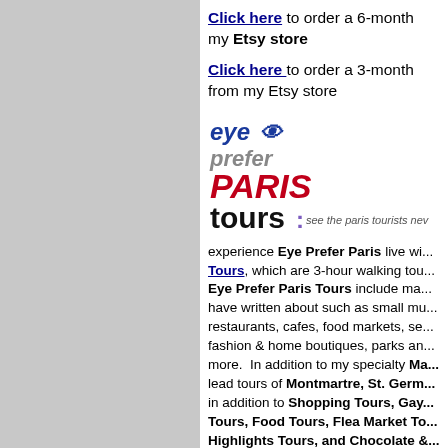Click here to order a 6-month ... my Etsy store
Click here to order a 3-month ... from my Etsy store
[Figure (logo): Eye Prefer Paris Tours logo — 'eye prefer PARIS tours: see the paris tourists ne...']
experience Eye Prefer Paris live wi... Tours, which are 3-hour walking tou... Eye Prefer Paris Tours include ma... have written about such as small mu... restaurants, cafes, food markets, se... fashion & home boutiques, parks an... more. In addition to my specialty Ma... lead tours of Montmartre, St. Germ... in addition to Shopping Tours, Gay... Tours, Food Tours, Flea Market To... Highlights Tours, and Chocolate &...
Tours start at 225 euros for up to 3 p...